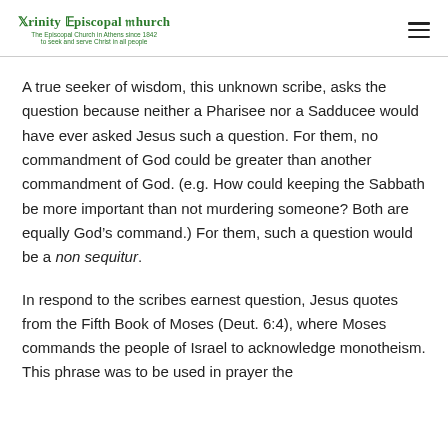Trinity Episcopal Church
The Episcopal Church in Athens since 1842
to seek and serve Christ in all people
A true seeker of wisdom, this unknown scribe, asks the question because neither a Pharisee nor a Sadducee would have ever asked Jesus such a question. For them, no commandment of God could be greater than another commandment of God. (e.g. How could keeping the Sabbath be more important than not murdering someone? Both are equally God’s command.) For them, such a question would be a non sequitur.
In respond to the scribes earnest question, Jesus quotes from the Fifth Book of Moses (Deut. 6:4), where Moses commands the people of Israel to acknowledge monotheism. This phrase was to be used in prayer the